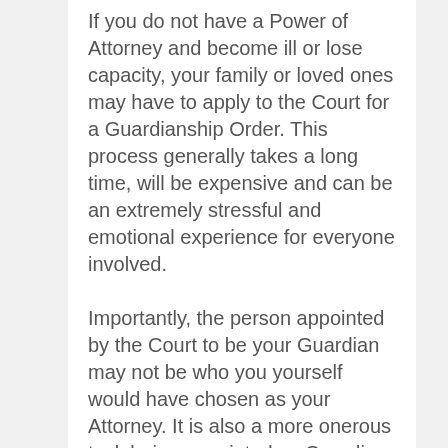If you do not have a Power of Attorney and become ill or lose capacity, your family or loved ones may have to apply to the Court for a Guardianship Order. This process generally takes a long time, will be expensive and can be an extremely stressful and emotional experience for everyone involved. Importantly, the person appointed by the Court to be your Guardian may not be who you yourself would have chosen as your Attorney. It is also a more onerous task being appointed as Guardian rather than an Attorney. The Guardian is subject to more stringent scrutiny from the Office